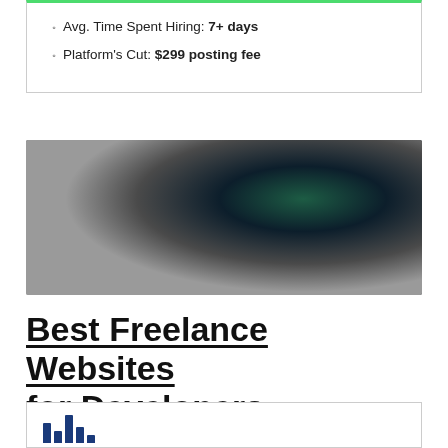Avg. Time Spent Hiring: 7+ days
Platform's Cut: $299 posting fee
[Figure (photo): Dark background image with deep green and grey gradient tones, likely a platform or website screenshot banner]
Best Freelance Websites for Developers
[Figure (bar-chart): Partial bar chart visible at bottom of page, dark blue bars]